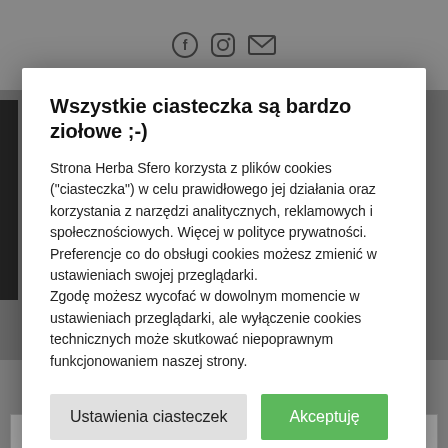[Figure (screenshot): Background website page with social media icons (Facebook, Instagram, email) in top bar, grey overlay, grid/list view icons and sort dropdown partially visible at bottom]
Wszystkie ciasteczka są bardzo ziołowe ;-)
Strona Herba Sfero korzysta z plików cookies ("ciasteczka") w celu prawidłowego jej działania oraz korzystania z narzędzi analitycznych, reklamowych i społecznościowych. Więcej w polityce prywatności. Preferencje co do obsługi cookies możesz zmienić w ustawieniach swojej przeglądarki. Zgodę możesz wycofać w dowolnym momencie w ustawieniach przeglądarki, ale wyłączenie cookies technicznych może skutkować niepoprawnym funkcjonowaniem naszej strony.
Ustawienia ciasteczek
Akceptuję